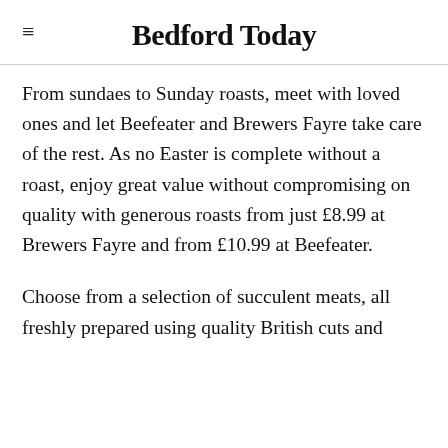Bedford Today
From sundaes to Sunday roasts, meet with loved ones and let Beefeater and Brewers Fayre take care of the rest. As no Easter is complete without a roast, enjoy great value without compromising on quality with generous roasts from just £8.99 at Brewers Fayre and from £10.99 at Beefeater.
Choose from a selection of succulent meats, all freshly prepared using quality British cuts and breads, and kindly...